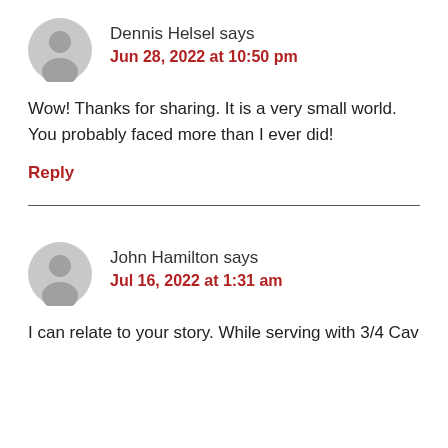[Figure (illustration): Gray circular avatar icon with person silhouette, for Dennis Helsel comment]
Dennis Helsel says
Jun 28, 2022 at 10:50 pm
Wow! Thanks for sharing. It is a very small world. You probably faced more than I ever did!
Reply
[Figure (illustration): Gray circular avatar icon with person silhouette, for John Hamilton comment]
John Hamilton says
Jul 16, 2022 at 1:31 am
I can relate to your story. While serving with 3/4 Cav